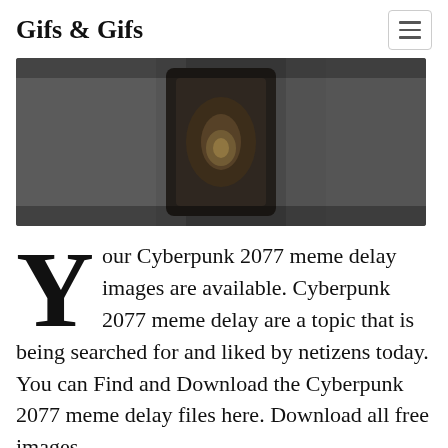Gifs & Gifs
[Figure (photo): A dark, blurry photograph showing what appears to be a person's torso or clothing in dim lighting, with a dark object in the center.]
Your Cyberpunk 2077 meme delay images are available. Cyberpunk 2077 meme delay are a topic that is being searched for and liked by netizens today. You can Find and Download the Cyberpunk 2077 meme delay files here. Download all free images.